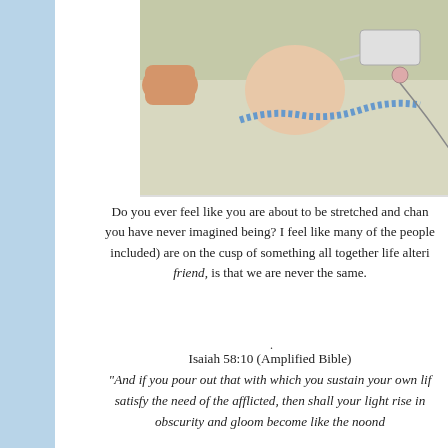[Figure (photo): Medical/NICU photo showing a newborn infant with breathing tubes and medical equipment, lying on a surface with a hand visible]
Do you ever feel like you are about to be stretched and changed into something you have never imagined being? I feel like many of the people in my life (me included) are on the cusp of something all together life altering. And the thing, friend, is that we are never the same.
Isaiah 58:10 (Amplified Bible)
"And if you pour out that with which you sustain your own life for the hungry and satisfy the need of the afflicted, then shall your light rise in darkness, and your obscurity and gloom become like the noonday."
[Figure (photo): Happy smiling baby/toddler with a large red bow in her blonde hair, wearing a dark outfit with a plaid pattern, sitting on a patterned rug or carpet]